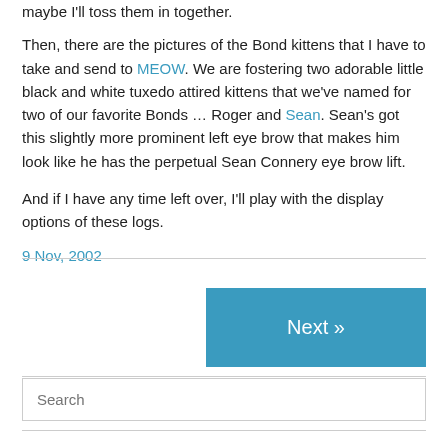maybe I'll toss them in together.
Then, there are the pictures of the Bond kittens that I have to take and send to MEOW. We are fostering two adorable little black and white tuxedo attired kittens that we've named for two of our favorite Bonds … Roger and Sean. Sean's got this slightly more prominent left eye brow that makes him look like he has the perpetual Sean Connery eye brow lift.
And if I have any time left over, I'll play with the display options of these logs.
9 Nov, 2002
Next »
Search